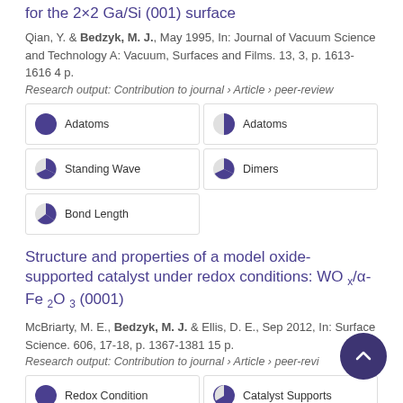for the 2×2 Ga/Si (001) surface
Qian, Y. & Bedzyk, M. J., May 1995, In: Journal of Vacuum Science and Technology A: Vacuum, Surfaces and Films. 13, 3, p. 1613-1616 4 p.
Research output: Contribution to journal › Article › peer-review
100% Adatoms
50% Adatoms
45% Standing Wave
45% Dimers
40% Bond Length
Structure and properties of a model oxide-supported catalyst under redox conditions: WO x/α-Fe 2O 3 (0001)
McBriarty, M. E., Bedzyk, M. J. & Ellis, D. E., Sep 2012, In: Surface Science. 606, 17-18, p. 1367-1381 15 p.
Research output: Contribution to journal › Article › peer-review
100% Redox Condition
90% Catalyst Supports
100% Monolayers
90% Oxidation-Reduction